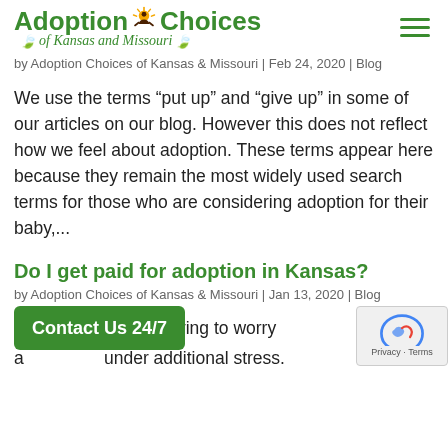[Figure (logo): Adoption Choices of Kansas and Missouri logo with sunflower icon]
by Adoption Choices of Kansas & Missouri | Feb 24, 2020 | Blog
We use the terms “put up” and “give up” in some of our articles on our blog. However this does not reflect how we feel about adoption. These terms appear here because they remain the most widely used search terms for those who are considering adoption for their baby,...
Do I get paid for adoption in Kansas?
by Adoption Choices of Kansas & Missouri | Jan 13, 2020 | Blog
If pregnant, having to worry a... under additional stress.